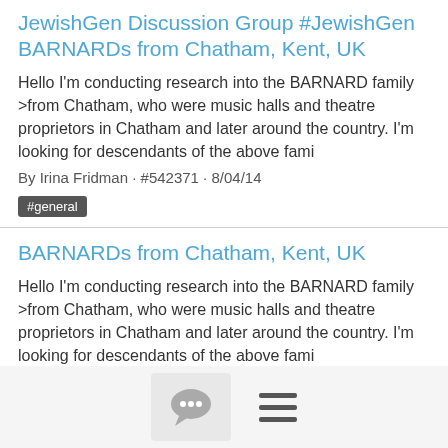JewishGen Discussion Group #JewishGen BARNARDs from Chatham, Kent, UK
Hello I'm conducting research into the BARNARD family >from Chatham, who were music halls and theatre proprietors in Chatham and later around the country. I'm looking for descendants of the above fami
By Irina Fridman · #542371 · 8/04/14
#general
BARNARDs from Chatham, Kent, UK
Hello I'm conducting research into the BARNARD family >from Chatham, who were music halls and theatre proprietors in Chatham and later around the country. I'm looking for descendants of the above fami
By Irina Fridman · #222058 · 8/04/14
#general
Jewish communities in Britain, 18th century
Dear Genners, Thank you very much for the replies. Your
[Figure (illustration): Bottom navigation bar with a chat bubble icon button and a hamburger menu icon]